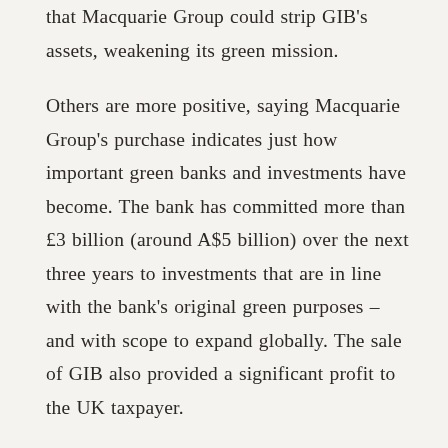that Macquarie Group could strip GIB's assets, weakening its green mission.
Others are more positive, saying Macquarie Group's purchase indicates just how important green banks and investments have become. The bank has committed more than £3 billion (around A$5 billion) over the next three years to investments that are in line with the bank's original green purposes – and with scope to expand globally. The sale of GIB also provided a significant profit to the UK taxpayer.
Burke says Australia and New Zealand can learn lessons from GIB's achievements. These include